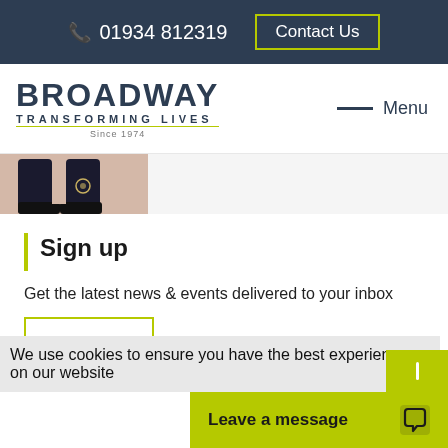📞 01934 812319   Contact Us
[Figure (logo): Broadway Transforming Lives Since 1974 logo]
Menu
[Figure (photo): Partial photo showing boots/legs]
Sign up
Get the latest news & events delivered to your inbox
We use cookies to ensure you have the best experience on our website
Leave a message